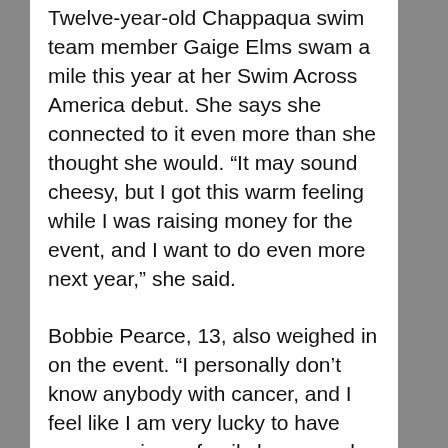Twelve-year-old Chappaqua swim team member Gaige Elms swam a mile this year at her Swim Across America debut. She says she connected to it even more than she thought she would. “It may sound cheesy, but I got this warm feeling while I was raising money for the event, and I want to do even more next year,” she said.
Bobbie Pearce, 13, also weighed in on the event. “I personally don’t know anybody with cancer, and I feel like I am very lucky to have everyone in my family happy and healthy,” she said. “I want to help people who are not as fortunate as I am.”
From elementary school aged children to an Olympic medalist, this event was a light and fun way for attendees to help fight against the harsh realities of cancer. A common motive of every participant was